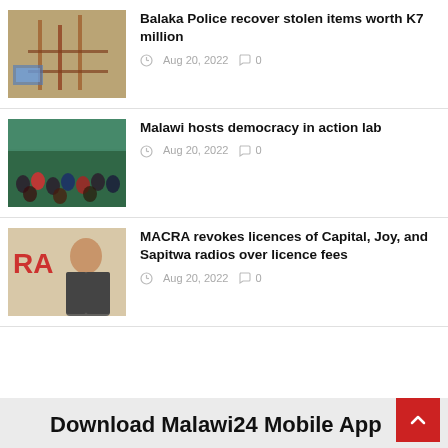Balaka Police recover stolen items worth K7 million
Aug 20, 2022  0
Malawi hosts democracy in action lab
Aug 20, 2022  0
MACRA revokes licences of Capital, Joy, and Sapitwa radios over licence fees
Aug 20, 2022  0
Download Malawi24 Mobile App